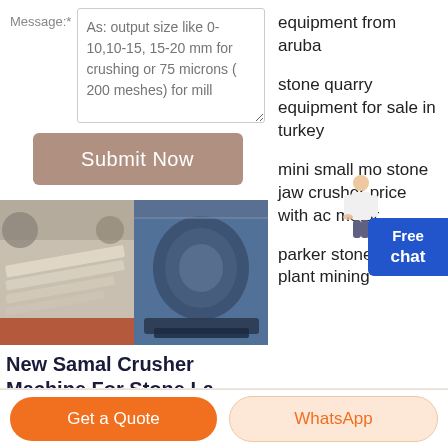Message:*
As: output size like 0-10,10-15, 15-20 mm for crushing or 75 microns ( 200 meshes) for mill
Submit Now
equipment from aruba
stone quarry equipment for sale in turkey
mini small mo stone jaw crusher price with ac motor
Free chat
[Figure (photo): Two industrial crusher machines in a factory setting]
New Samal Crusher Machine For Stone La Trituradora Perfil
parker stone crusher plant mining
Get a Quote
WhatsApp